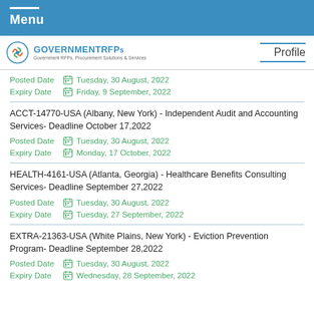Menu
[Figure (logo): GOVERNMENTRFPs logo with tagline 'Government RFPs, Procurement Solutions & Services']
Profile
Posted Date  Tuesday, 30 August, 2022
Expiry Date  Friday, 9 September, 2022
ACCT-14770-USA (Albany, New York) - Independent Audit and Accounting Services- Deadline October 17,2022
Posted Date  Tuesday, 30 August, 2022
Expiry Date  Monday, 17 October, 2022
HEALTH-4161-USA (Atlanta, Georgia) - Healthcare Benefits Consulting Services- Deadline September 27,2022
Posted Date  Tuesday, 30 August, 2022
Expiry Date  Tuesday, 27 September, 2022
EXTRA-21363-USA (White Plains, New York) - Eviction Prevention Program- Deadline September 28,2022
Posted Date  Tuesday, 30 August, 2022
Expiry Date  Wednesday, 28 September, 2022